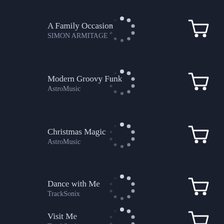A Family Occasion / SIMON ARMITAGE
Modern Groovy Funk / AstroMusic
Christmas Magic / AstroMusic
Dance with Me / TrackSonix
Visit Me / TrackSonix